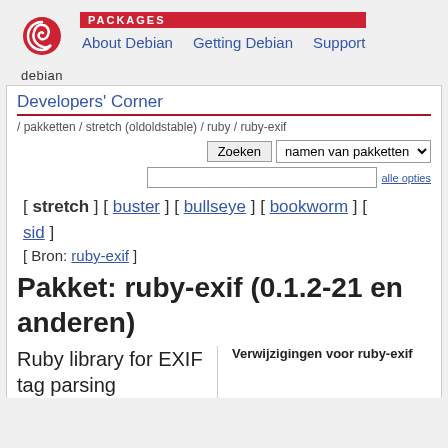PACKAGES | About Debian | Getting Debian | Support
Developers' Corner
/ pakketten / stretch (oldoldstable) / ruby / ruby-exif
[ stretch ] [ buster ] [ bullseye ] [ bookworm ] [ sid ]
[ Bron: ruby-exif ]
Pakket: ruby-exif (0.1.2-21 en anderen)
Ruby library for EXIF tag parsing
Verwijzigingen voor ruby-exif